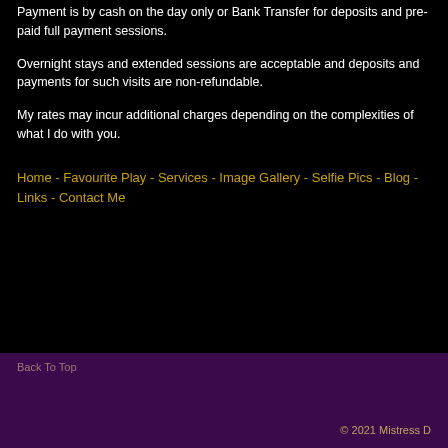Payment is by cash on the day only or Bank Transfer for deposits and pre-paid full payment sessions.
Overnight stays and extended sessions are acceptable and deposits and payments for such visits are non-refundable.
My rates may incur additional charges depending on the complexities of what I do with you.
Home - Favourite Play - Services - Image Gallery - Selfie Pics - Blog - Links - Contact Me
Back To Top
© 2021 Mistress D